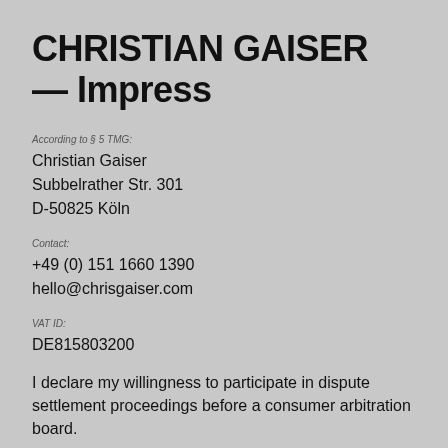CHRISTIAN GAISER — Impress
According to § 5 TMG:
Christian Gaiser
Subbelrather Str. 301
D-50825 Köln
Contact:
+49 (0) 151 1660 1390
hello@chrisgaiser.com
VAT ID:
DE815803200
I declare my willingness to participate in dispute settlement proceedings before a consumer arbitration board.
Liability for content:
As a service provider I am in accordance with § 7 Abs.1 TMG responsible for own content on these pages according to general